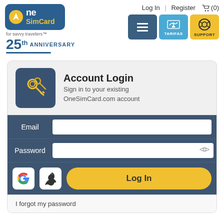[Figure (logo): OneSimCard logo with blue rounded rectangle, yellow keys icon, text 'One SimCard', tagline 'for savvy travelers TM', and '25th ANNIVERSARY' text below]
Log In | Register  (0)
[Figure (screenshot): Navigation buttons: hamburger menu (dark blue), TARIFAS (light blue with map icon), SUPPORT (yellow with lifesaver icon)]
[Figure (screenshot): Account Login form card with keys icon, Email field, Password field with eye icon, Google and Apple sign-in buttons, yellow Log In button, and 'I forgot my password' link]
Account Login
Sign in to your existing OneSimCard.com account
Email
Password
Log In
I forgot my password